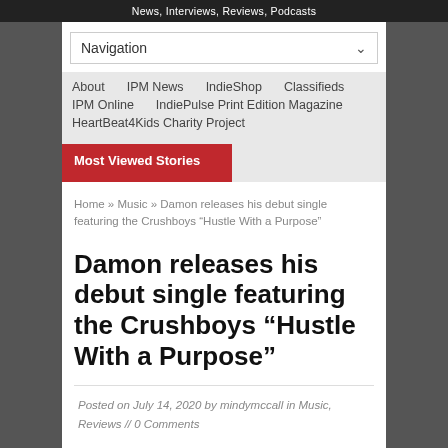News, Interviews, Reviews, Podcasts
Navigation
About   IPM News   IndieShop   Classifieds
IPM Online   IndiePulse Print Edition Magazine
HeartBeat4Kids Charity Project
Most Viewed Stories
Home » Music » Damon releases his debut single featuring the Crushboys “Hustle With a Purpose”
Damon releases his debut single featuring the Crushboys “Hustle With a Purpose”
Posted on July 14, 2020 by mindymccall in Music, Reviews // 0 Comments